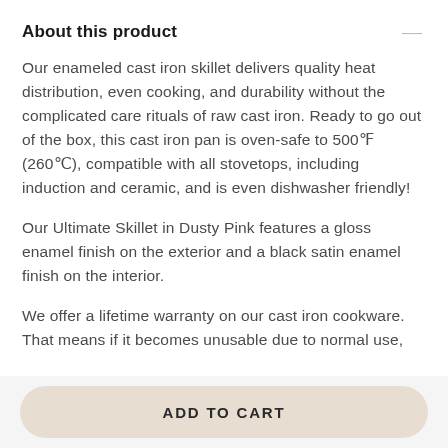About this product
Our enameled cast iron skillet delivers quality heat distribution, even cooking, and durability without the complicated care rituals of raw cast iron. Ready to go out of the box, this cast iron pan is oven-safe to 500°F (260°C), compatible with all stovetops, including induction and ceramic, and is even dishwasher friendly!
Our Ultimate Skillet in Dusty Pink features a gloss enamel finish on the exterior and a black satin enamel finish on the interior.
We offer a lifetime warranty on our cast iron cookware. That means if it becomes unusable due to normal use,
ADD TO CART